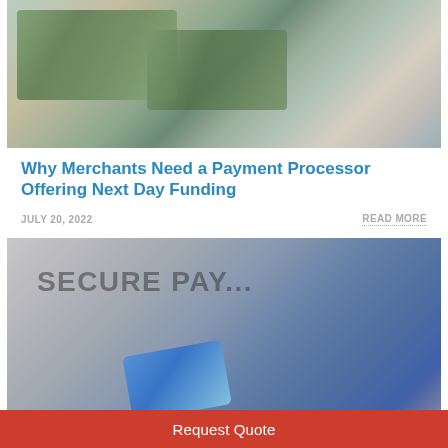[Figure (photo): Photo of US dollar bills, a calculator, and financial documents/bank statements on a table]
Why Merchants Need a Payment Processor Offering Next Day Funding
JULY 20, 2022
READ MORE
[Figure (photo): Photo of a person holding a blue credit card in front of a screen showing 'SECURE PAYMENT' text]
Request Quote